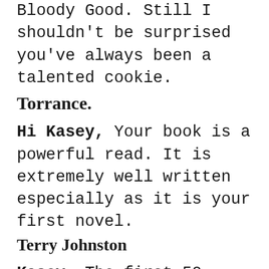Bloody Good. Still I shouldn't be surprised you've always been a talented cookie. Torrance.
Hi Kasey, Your book is a powerful read. It is extremely well written especially as it is your first novel. Terry Johnston
Kasey, The first 50 pages I loved, and then I hated it, and I didn't want to read any more, but I kept picking it up, and reading it, at times reluctantly, but I had to read it, and I would be engrossed in it, and then I would hate it as things got tough, but pick